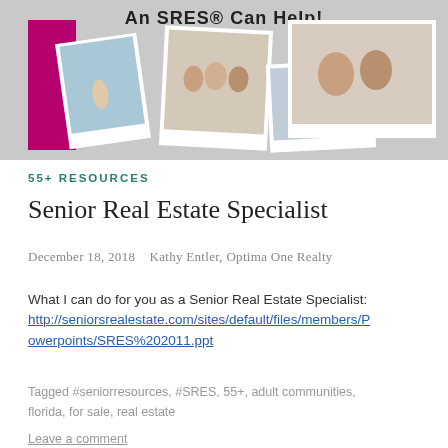[Figure (photo): Banner image with text 'An SRES® Can Help!' and collage of polaroid-style photos of seniors and families, with a magenta/pink bar on the left side.]
55+ RESOURCES
Senior Real Estate Specialist
December 18, 2018   Kathy Entler, Optima One Realty
What I can do for you as a Senior Real Estate Specialist:
http://seniorsrealestate.com/sites/default/files/members/Powerpoints/SRES%202011.ppt
Tagged #seniorresources, #SRES, 55+, adult communities, florida, for sale, real estate
Leave a comment